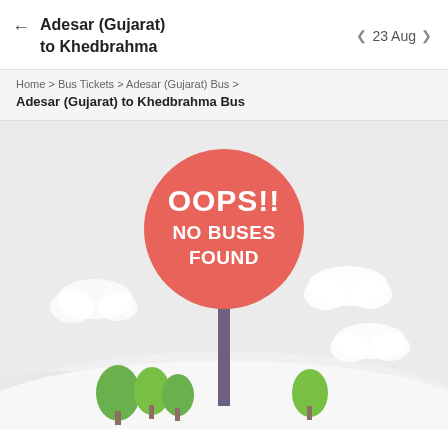Adesar (Gujarat) to Khedbrahma | 23 Aug
Home > Bus Tickets > Adesar (Gujarat) Bus >
Adesar (Gujarat) to Khedbrahma Bus
[Figure (illustration): An 'OOPS!! NO BUSES FOUND' error illustration showing a red circular sign on a pole with cartoon trees and clouds on a light grey background.]